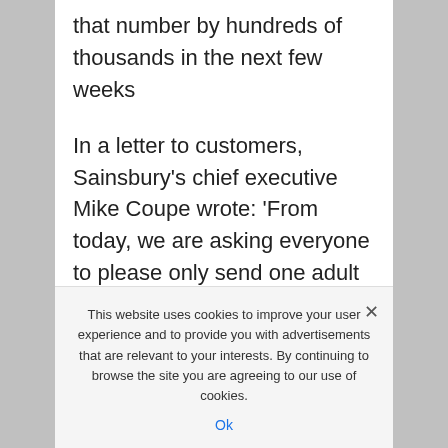that number by hundreds of thousands in the next few weeks
In a letter to customers, Sainsbury's chief executive Mike Coupe wrote: 'From today, we are asking everyone to please only send one adult per household to our shops.
'This helps us keep people a safe distance apart and also helps to reduce queues to get into stores.
This website uses cookies to improve your user experience and to provide you with advertisements that are relevant to your interests. By continuing to browse the site you are agreeing to our use of cookies.
Ok